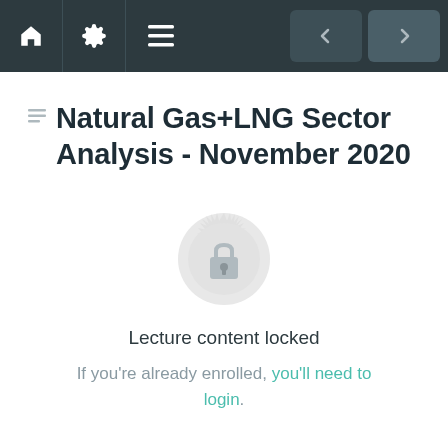Navigation bar with home, settings, menu icons and prev/next buttons
Natural Gas+LNG Sector Analysis - November 2020
[Figure (illustration): Locked badge icon — gear/mandala shaped badge with a padlock symbol in the center, rendered in light gray]
Lecture content locked
If you're already enrolled, you'll need to login.